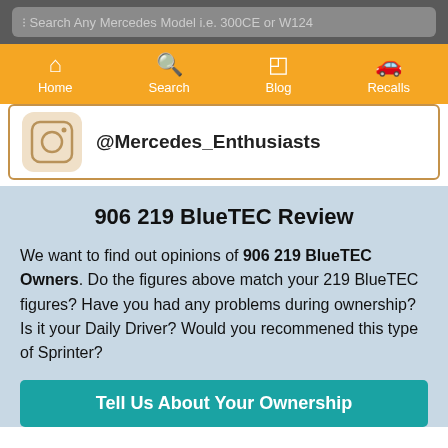[Figure (screenshot): Search bar with placeholder text: Search Any Mercedes Model i.e. 300CE or W124]
[Figure (infographic): Navigation bar with Home, Search, Blog, Recalls icons on orange background]
[Figure (infographic): Instagram icon card with handle @Mercedes_Enthusiasts]
906 219 BlueTEC Review
We want to find out opinions of 906 219 BlueTEC Owners. Do the figures above match your 219 BlueTEC figures? Have you had any problems during ownership? Is it your Daily Driver? Would you recommened this type of Sprinter?
Tell Us About Your Ownership